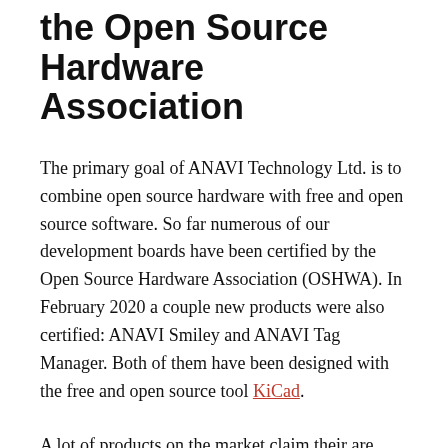the Open Source Hardware Association
The primary goal of ANAVI Technology Ltd. is to combine open source hardware with free and open source software. So far numerous of our development boards have been certified by the Open Source Hardware Association (OSHWA). In February 2020 a couple new products were also certified: ANAVI Smiley and ANAVI Tag Manager. Both of them have been designed with the free and open source tool KiCad.
A lot of products on the market claim their are open source hardware, however this is not always true. Open Source Hardware